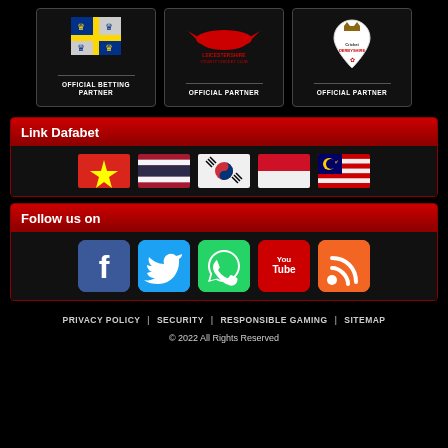[Figure (logo): Three partner logos: Bahamas (Official Betting Partner), Leicestershire County Cricket Club (Official Partner), Cricket Derbyshire (Official Partner)]
Link Dafabet
[Figure (infographic): Five country flags: Vietnam, Thailand, South Korea, Indonesia, Malaysia]
Follow us on
[Figure (infographic): Social media icons: Facebook, Twitter, WhatsApp, YouTube, RSS]
PRIVACY POLICY | SECURITY | RESPONSIBLE GAMING | SITEMAP
© 2022 All Rights Reserved